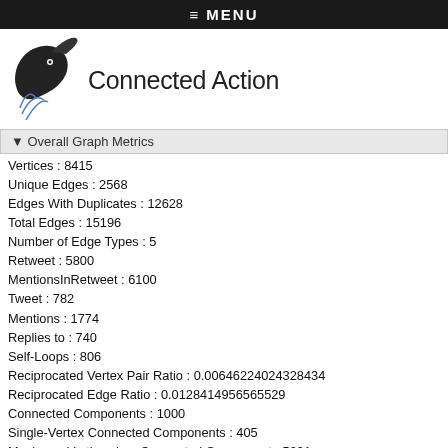≡ MENU
[Figure (logo): Connected Action logo with stylized bird/fish graphic and text 'Connected Action']
▼ Overall Graph Metrics
Vertices : 8415
Unique Edges : 2568
Edges With Duplicates : 12628
Total Edges : 15196
Number of Edge Types : 5
Retweet : 5800
MentionsInRetweet : 6100
Tweet : 782
Mentions : 1774
Replies to : 740
Self-Loops : 806
Reciprocated Vertex Pair Ratio : 0.00646224024328434
Reciprocated Edge Ratio : 0.0128414956565529
Connected Components : 1000
Single-Vertex Connected Components : 405
Maximum Vertices in a Connected Component : 5091